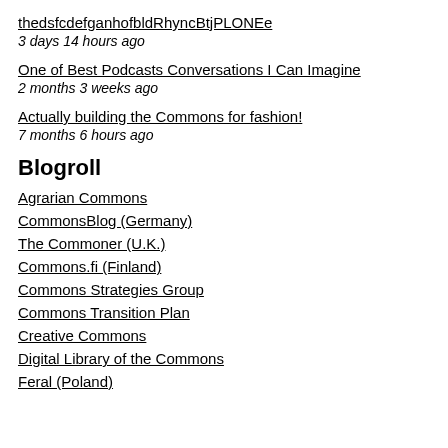thedsfcdefganhofbldRhyncBtjPLONEe
3 days 14 hours ago
One of Best Podcasts Conversations I Can Imagine
2 months 3 weeks ago
Actually building the Commons for fashion!
7 months 6 hours ago
Blogroll
Agrarian Commons
CommonsBlog (Germany)
The Commoner (U.K.)
Commons.fi (Finland)
Commons Strategies Group
Commons Transition Plan
Creative Commons
Digital Library of the Commons
Feral (Poland)